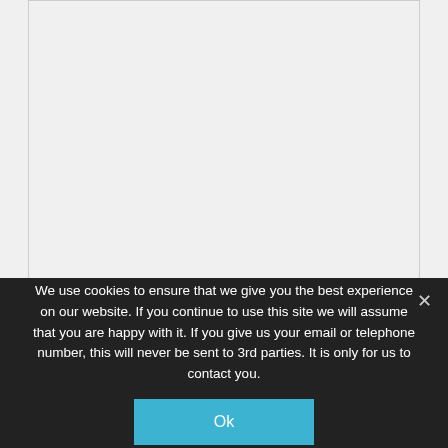[Figure (other): Light grey blank content area, representing a webpage background region above a cookie consent overlay.]
We use cookies to ensure that we give you the best experience on our website. If you continue to use this site we will assume that you are happy with it. If you give us your email or telephone number, this will never be sent to 3rd parties. It is only for us to contact you.
Ok